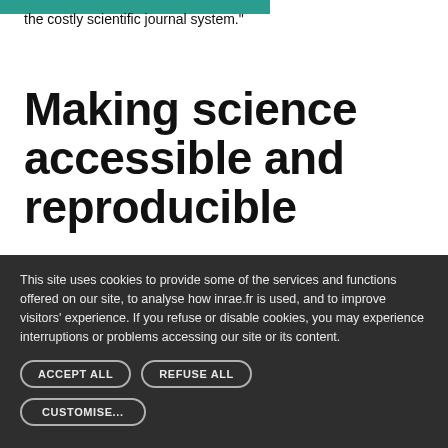the costly scientific journal system."
Making science accessible and reproducible
[Figure (illustration): Teal colored background block with partial circle element, representing a website section image]
This site uses cookies to provide some of the services and functions offered on our site, to analyse how inrae.fr is used, and to improve visitors' experience. If you refuse or disable cookies, you may experience interruptions or problems accessing our site or its content.
ACCEPT ALL
REFUSE ALL
CUSTOMISE...